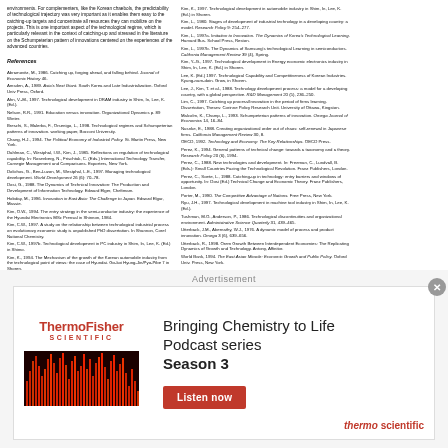environments. For complementers, like the Korean chaebols, the predictability of technological trajectory was very important as it enables them easy to the catching-up targets and concentrate all resources they can mobilize on the projects. This is one important aspect of the technological regime, which is particularly relevant in the context of catching-up and stressed in the literature on the Schumpeterian pattern of innovations centered on the experiences of the advanced countries.
References
Abramovitz, M., 1986. Catching up, forging ahead, and falling behind. Journal of Economic History 46.
Amsden, A., 1989. Asia's Next Giant. South Korea and Late Industrialization. Oxford Univ Press, Oxford.
Ahn, V.-M., 1997. Technological development in DRAM industry in Shim, In, Lee, K, (Ed.).
Nelson, R.R., 1991. Education versus innovation. Organizational Dynamics p. 89 Winter.
Breschi, S., Malerba, F., Orsenigo, L., 1998. Technological regimes and Schumpeterian patterns of innovation. working paper, Bocconi University.
Chang, H.J., 1994. The Political Economy of Industrial Policy. St. Martin Press, New York.
Dahlman, C., Westphal, I.W., Kim, J., 1985. Reflections on regulation of technological capability. In: Rosenberg, N., Frischtak, C. (Eds.) International Technology Transfer, Carnegie Management and Comparisons. Exporters, New York.
Dolichos, G., Ben-Luzon, M., Westphal, L.E., 1997. Managing technological development. World Development 26 (6): 70-78.
Dosi, G., 1988. The Dynamics of Technical Innovation: The Production and Development of Information Technology. Edward Elger, Cheltmam.
Hobday, M., 1996. Innovation in East Asia: The Challenge to Japan. Edward Elgar, Massie.
Kim, O.W., 1994. The entry strategy in the semi-conductor industry: the experience of the Hyundai Electronics MSc Prensal in Shinnon, 1984.
Kim, C.W., 1997. A study on the relationship between technological industrial process on evolutionary economic study is unpublished PhD dissertation. In Shannon, Corel National Chemistry.
Kim, C.W., 1997b. Technological development in PC industry in Shim, In, Lee, K. (Ed.) in Shimo.
Kim, K., 1994. The Mechanism of the growth of the Korean automobile industry from the technological point of views: the case of Hyundai. Go-koi Hyung-Jin/Pyo-Pibe 7 in Shoren.
Kim, K., 1997. Technological development in automobile industry in Shim, In, Lee, K. (Ed.) in Shoren.
Kim, L., 1980. Stages of development of industrial technology in a developing country: a model. Research Policy 9: 254-277.
Kim, L., 1997a. Imitation to Innovation. The Dynamics of Korea's Technological Learning. Harvard Bus. School Press, Reston.
Kim, L., 1997b. The Dynamics of Samsung's technological Learning in semiconductors. California Management Review 39 (4), Spring.
Kim, Y.-G., 1997. Technological development in Energy economic electronics industry in Shim, In, Lee, K. (Ed.) in Shoren.
Lee, K. (Ed.) 1997. Technological Capability and Competitiveness of Korean Industries. Kyung-nam-doin. Grow, in Shoren.
Lee, J., Kim, T. et al., 1988. Technology development process: a model for a developing country, with a global perspective. R&D Management 20 (5), 236-250.
Lim, C., 1997. Catching up process/Innovation in the period of firms learning. Dissertation, Theses: Corinne Policy Research Unit. University of Ottawa, Kingston.
Malcolm, K., Champ, L., 1993. Schumpeterian patterns of innovation. Omega Journal of Economics 14, 16–84.
Nusnke, E., 1988. Creating organizational order out of chaos: self-renewal in Japanese firms. California Management Review 30, 8.
OECD, 1992. Technology and Economy: The Key Relationships. OECD Press.
Perez, K., 1994. General patterns of technical change: towards a taxonomy and a theory. Research Policy 20 (6), 1994.
Perez, C., 1988. New technologies and development. In: Freeman, C., Lundvall, B. (Eds.): Small Countries Facing the Technological Revolution. Franz Publishers, London.
Perez, C., Soete, L., 1988. Catching-up in technology: entry barriers and windows of opportunity. In: Dosi (Ed.) Technical Change and Economic Theory. Franz Publishers, London.
Porter, M., 1990. The Competitive Advantage of Nations. Free Press, New York.
Ryu, J.H., 1997. Technological development in machine tool industry in Shim, In, Lee, K. (Ed.).
Tushman, M.O., Anderson, P., 1986. Technological discontinuities and organizational environment. Administrative Science Quarterly 31, 439–465.
Utterback, J.M., Abernathy, W.J., 1976. A dynamic model of process and product innovation. Omega 3 (6), 639–656.
Utterback, R., 1998. Orem Growth Between Interdependent Economies: The Replicating Dynamics of Growth and Technology. Antony, Affinitor.
World Bank, 1994. The East Asian Miracle: Economic Growth and Public Policy. Oxford Univ. Press, New York.
[Figure (other): ThermoFisher Scientific advertisement: Bringing Chemistry to Life Podcast series Season 3 with Listen now button]
Advertisement